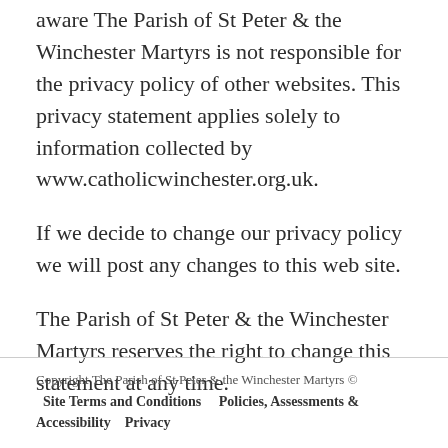aware The Parish of St Peter & the Winchester Martyrs is not responsible for the privacy policy of other websites. This privacy statement applies solely to information collected by www.catholicwinchester.org.uk.
If we decide to change our privacy policy we will post any changes to this web site.
The Parish of St Peter & the Winchester Martyrs reserves the right to change this statement at any time.
Copyright The Parish of St Peter & the Winchester Martyrs ©   Site Terms and Conditions     Policies, Assessments & Accessibility     Privacy